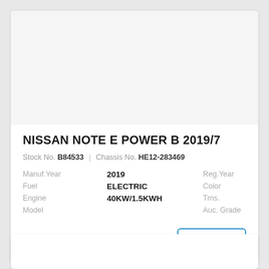NISSAN NOTE E POWER B 2019/7
Stock No. B84533 | Chassis No. HE12-283469
| Manuf.Year | 2019 | Reg.Year | 2019/7 |
| Fuel | ELECTRIC | Color | SILVER |
| Engine | 40KW/1.5KWH | Trns. | AUTO |
| Model |  | Auc. Grade | 3.0 |
Detalles